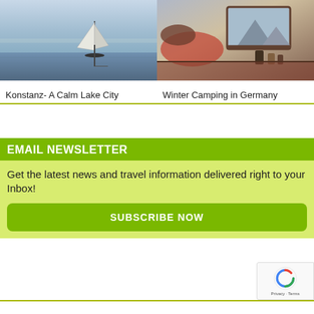[Figure (photo): Sailboat on a calm lake (Konstanz), blue water and hazy horizon]
[Figure (photo): Person lying in a cozy camper/tent interior in winter, blankets and camping gear visible]
Konstanz- A Calm Lake City
Winter Camping in Germany
EMAIL NEWSLETTER
Get the latest news and travel information delivered right to your Inbox!
SUBSCRIBE NOW